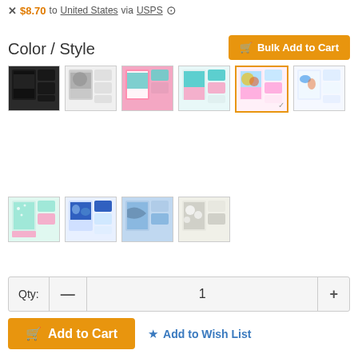✗ $8.70 to United States via USPS ⊙
Color / Style
[Figure (photo): Grid of 10 phone case color/style thumbnails for Huawei Y5 (2019), 5th thumbnail highlighted with orange border]
Qty: — 1 +
🛒 Add to Cart  ★ Add to Wish List
Sun Flower Slim Magnetic Attraction Wallet Flip Cover for Huawei Y5 (2019)
[Figure (logo): PayPal logo and payment method logos: MasterCard, VISA, American Express, Discover Network]